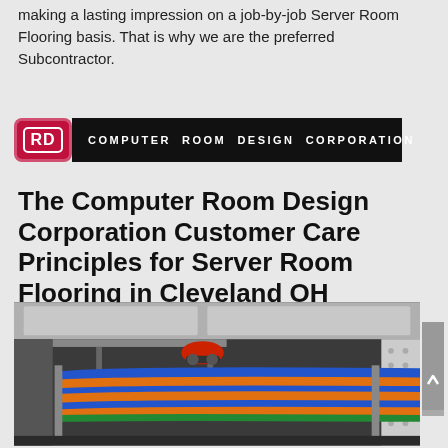making a lasting impression on a job-by-job Server Room Flooring basis. That is why we are the preferred Subcontractor.
[Figure (logo): Computer Room Design Corporation logo: red rounded rectangle with 'RD' monogram in white border, followed by black bar with white text 'COMPUTER ROOM DESIGN CORPORATION']
The Computer Room Design Corporation Customer Care Principles for Server Room Flooring in Cleveland OH
[Figure (photo): Photo of server room raised flooring system showing cables (blue, orange, green) running underneath raised floor panels, with metal grid structure visible.]